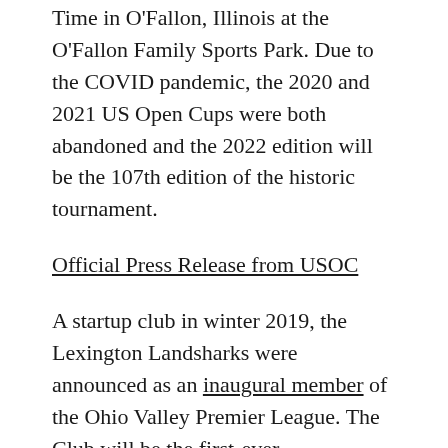Time in O'Fallon, Illinois at the O'Fallon Family Sports Park. Due to the COVID pandemic, the 2020 and 2021 US Open Cups were both abandoned and the 2022 edition will be the 107th edition of the historic tournament.
Official Press Release from USOC
A startup club in winter 2019, the Lexington Landsharks were announced as an inaugural member of the Ohio Valley Premier League. The Club will be the first-ever representative from Lexington, Kentucky in the Open Cup and only the second-ever entry from Kentucky through Open Division Qualifying. The Landsharks have been at the top of the goal-scoring charts in the OVPL thanks to Amadi Mubelela. A forward from Lexington, Mubelela has scored 14 goals and